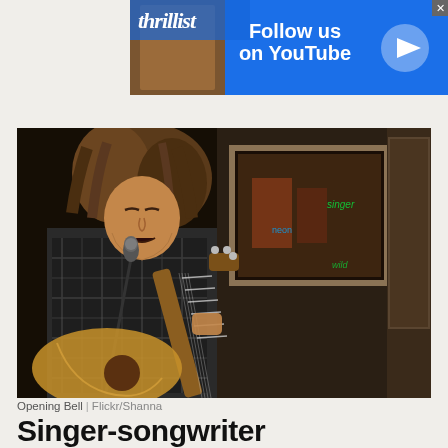[Figure (photo): Thrillist advertisement banner showing 'Follow us on YouTube' with play button icon and photo of a person]
[Figure (photo): A singer-songwriter performing at Opening Bell bar, playing acoustic guitar and singing into a microphone, wearing a plaid shirt, indoor venue with warm lighting]
Opening Bell | Flickr/Shanna
Singer-songwriter